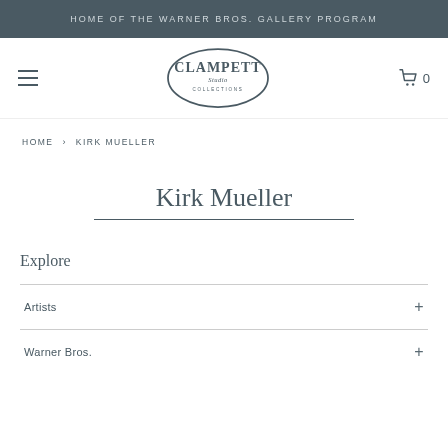HOME OF THE WARNER BROS. GALLERY PROGRAM
[Figure (logo): Clampett Studio Collections oval logo]
HOME > KIRK MUELLER
Kirk Mueller
Explore
Artists +
Warner Bros. +